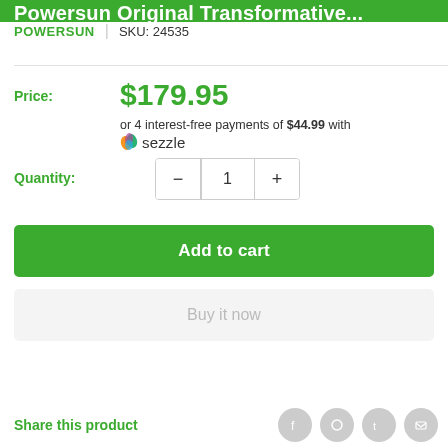Powersun Original Transformative...
POWERSUN | SKU: 24535
Price: $179.95
or 4 interest-free payments of $44.99 with sezzle
Quantity: 1
Add to cart
Buy it now
Share this product